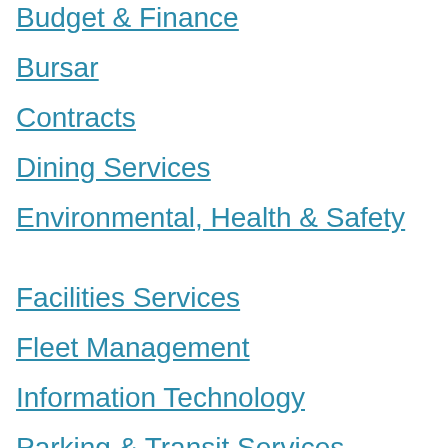Budget & Finance
Bursar
Contracts
Dining Services
Environmental, Health & Safety
Facilities Services
Fleet Management
Information Technology
Parking & Transit Services